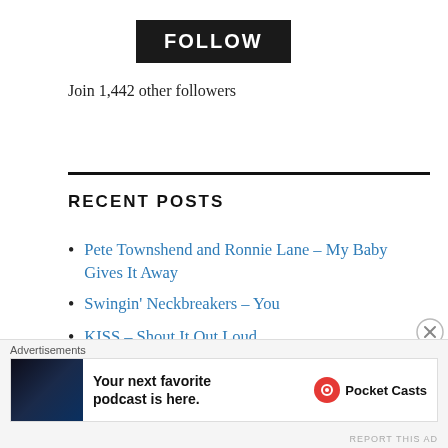FOLLOW
Join 1,442 other followers
RECENT POSTS
Pete Townshend and Ronnie Lane – My Baby Gives It Away
Swingin' Neckbreakers – You
KISS – Shout It Out Loud
Real or Memorex? Lip Syncing and Backing Tracks
Advertisements
[Figure (screenshot): Pocket Casts advertisement: 'Your next favorite podcast is here.' with Pocket Casts logo]